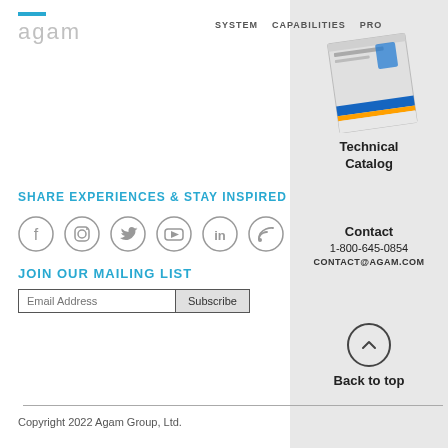[Figure (logo): Agam logo with blue bar and gray text]
SYSTEM   CAPABILITIES   PRO...
[Figure (photo): Technical Catalog book cover image]
Technical Catalog
Contact
1-800-645-0854
CONTACT@AGAM.COM
[Figure (illustration): Back to top arrow circle button]
Back to top
SHARE EXPERIENCES & STAY INSPIRED
[Figure (illustration): Social media icons: Facebook, Instagram, Twitter, YouTube, LinkedIn, RSS]
JOIN OUR MAILING LIST
Email Address  Subscribe
Copyright 2022 Agam Group, Ltd.